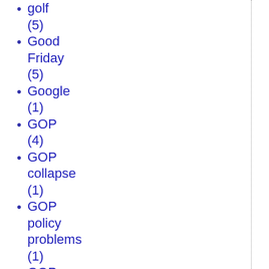golf (5)
Good Friday (5)
Google (1)
GOP (4)
GOP collapse (1)
GOP policy problems (1)
GOP Sloganeering (1)
Gore Vidal (1)
Gospel of John